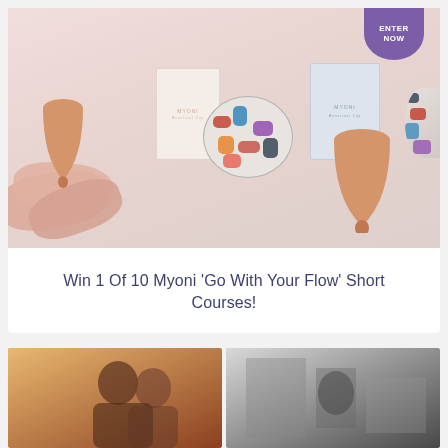[Figure (photo): Product photo of Myoni menstrual cups, boxes, and reusable pads on a blush/pink background, with a purple 'ENTER NOW' badge in top right corner]
Win 1 Of 10 Myoni ‘Go With Your Flow’ Short Courses!
[Figure (photo): Photo of two women together, warm toned lighting]
[Figure (photo): Black and white photo, appears to show a person in an interior setting]